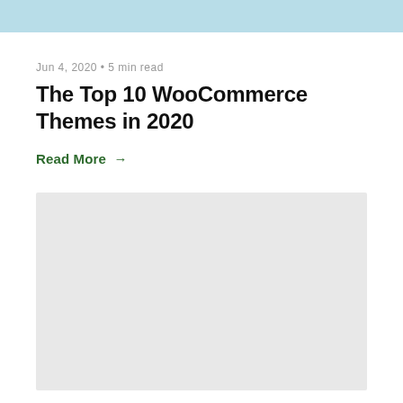[Figure (photo): Light blue placeholder image banner at the top of the page]
Jun 4, 2020 • 5 min read
The Top 10 WooCommerce Themes in 2020
Read More →
[Figure (photo): Light gray placeholder image in the lower half of the page]